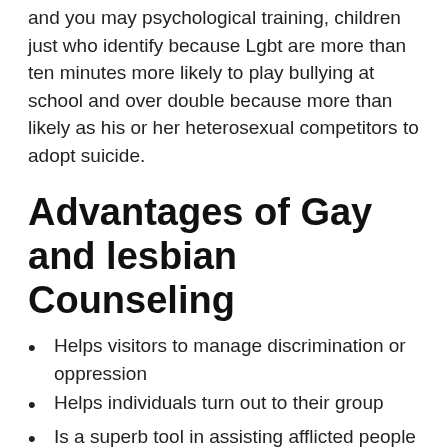and you may psychological training, children just who identify because Lgbt are more than ten minutes more likely to play bullying at school and over double because more than likely as his or her heterosexual competitors to adopt suicide.
Advantages of Gay and lesbian Counseling
Helps visitors to manage discrimination or oppression
Helps individuals turn out to their group
Is a superb tool in assisting afflicted people to discover its sense of worry